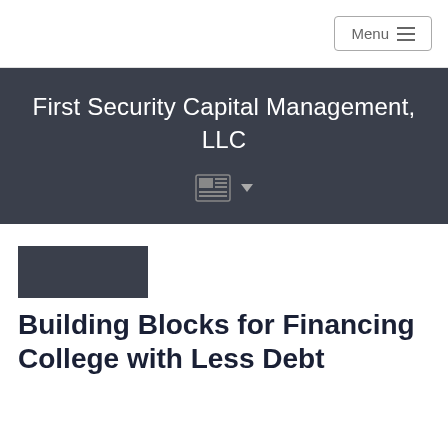Menu
First Security Capital Management, LLC
[Figure (other): Newspaper/article icon with dropdown arrow in dark banner]
[Figure (other): Dark rectangular thumbnail image above article title]
Building Blocks for Financing College with Less Debt